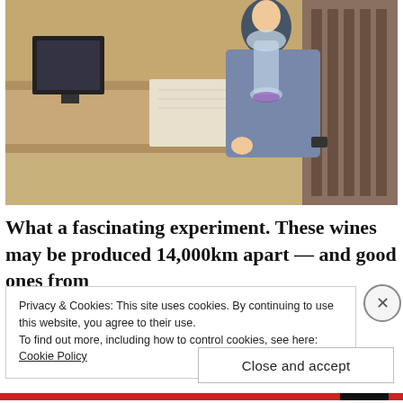[Figure (photo): A person in a grey shirt holding a wine glass and decanter in what appears to be a wine shop or bar, with shelves of wine bottles visible in the background and a counter/desk area.]
What a fascinating experiment. These wines may be produced 14,000km apart — and good ones from
Privacy & Cookies: This site uses cookies. By continuing to use this website, you agree to their use.
To find out more, including how to control cookies, see here: Cookie Policy
Close and accept